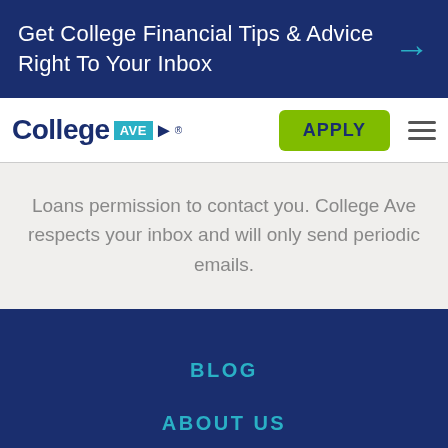Get College Financial Tips & Advice Right To Your Inbox
[Figure (logo): College Ave student loans logo with teal AVE badge and arrow]
Loans permission to contact you. College Ave respects your inbox and will only send periodic emails.
BLOG
ABOUT US